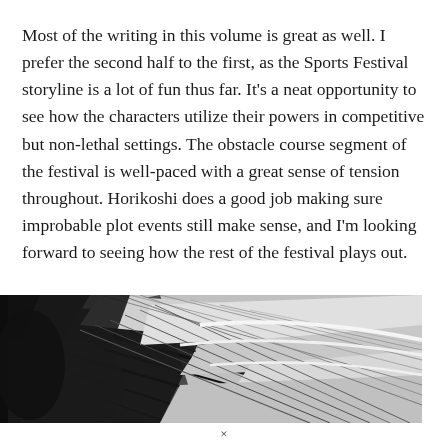Most of the writing in this volume is great as well. I prefer the second half to the first, as the Sports Festival storyline is a lot of fun thus far. It's a neat opportunity to see how the characters utilize their powers in competitive but non-lethal settings. The obstacle course segment of the festival is well-paced with a great sense of tension throughout. Horikoshi does a good job making sure improbable plot events still make sense, and I'm looking forward to seeing how the rest of the festival plays out.
[Figure (illustration): Black and white manga-style ink illustration showing dynamic diagonal lines and shading suggesting motion or wind, with dark and light contrasting areas typical of manga artwork.]
×